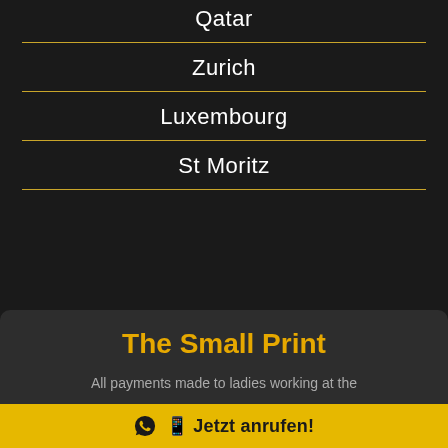Qatar
Zurich
Luxembourg
St Moritz
The Small Print
All payments made to ladies working at the
Jetzt anrufen!